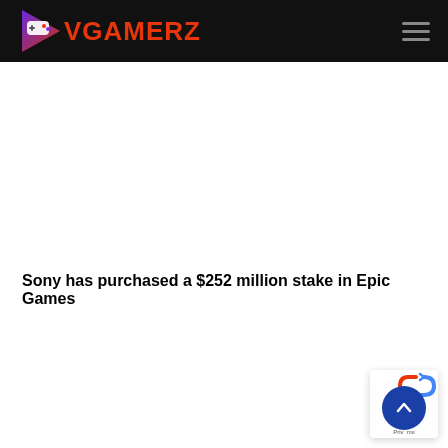VGAMERZ
Sony has purchased a $252 million stake in Epic Games